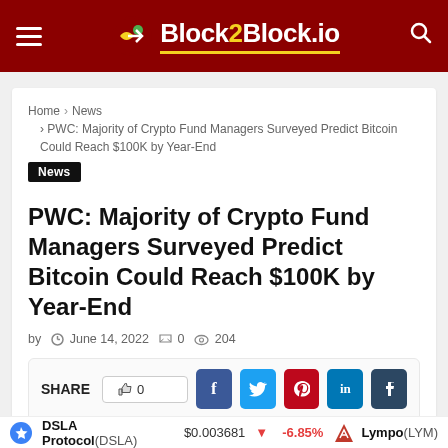Block2Block.io
Home > News > PWC: Majority of Crypto Fund Managers Surveyed Predict Bitcoin Could Reach $100K by Year-End
News
PWC: Majority of Crypto Fund Managers Surveyed Predict Bitcoin Could Reach $100K by Year-End
by  June 14, 2022  0  204
SHARE  0  f  t  p  in  t  (reddit)  (telegram)  (email)
DSLA Protocol(DSLA) $0.003681 -6.85%  Lympo(LYM)